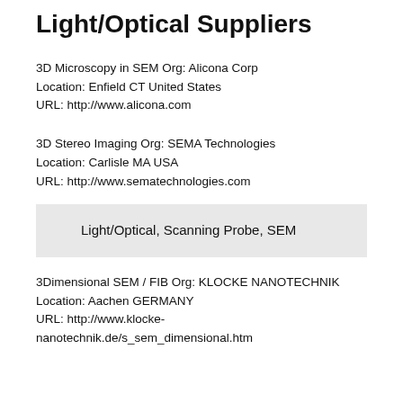Light/Optical Suppliers
3D Microscopy in SEM Org: Alicona Corp
Location: Enfield CT United States
URL: http://www.alicona.com
3D Stereo Imaging Org: SEMA Technologies
Location: Carlisle MA USA
URL: http://www.sematechnologies.com
Light/Optical, Scanning Probe, SEM
3Dimensional SEM / FIB Org: KLOCKE NANOTECHNIK
Location: Aachen GERMANY
URL: http://www.klocke-nanotechnik.de/s_sem_dimensional.htm